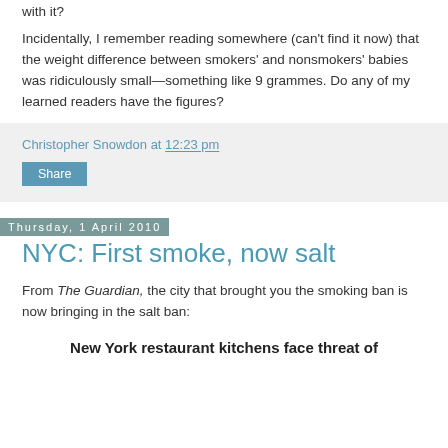with it?
Incidentally, I remember reading somewhere (can't find it now) that the weight difference between smokers' and nonsmokers' babies was ridiculously small—something like 9 grammes. Do any of my learned readers have the figures?
Christopher Snowdon at 12:23 pm
Share
Thursday, 1 April 2010
NYC: First smoke, now salt
From The Guardian, the city that brought you the smoking ban is now bringing in the salt ban:
New York restaurant kitchens face threat of